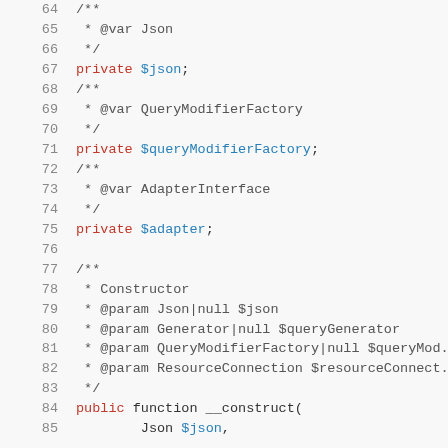Code listing lines 64-85 showing PHP class property declarations and constructor docblock
64   /**
65    * @var Json
66    */
67   private $json;
68   /**
69    * @var QueryModifierFactory
70    */
71   private $queryModifierFactory;
72   /**
73    * @var AdapterInterface
74    */
75   private $adapter;
76
77   /**
78    * Constructor
79    * @param Json|null $json
80    * @param Generator|null $queryGenerator
81    * @param QueryModifierFactory|null $queryMod.
82    * @param ResourceConnection $resourceConnect.
83    */
84   public function __construct(
85       Json $json,